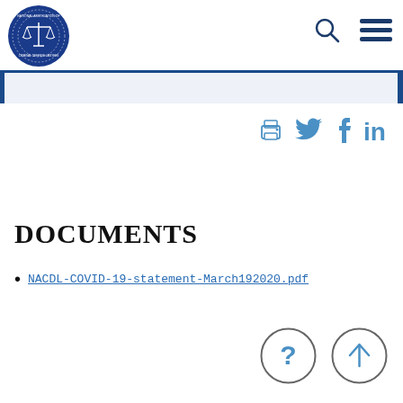[Figure (logo): NACDL (National Association of Criminal Defense Lawyers) circular seal logo in blue with scales of justice]
[Figure (illustration): Search (magnifying glass) icon and hamburger menu icon in dark blue, top right of header]
[Figure (illustration): Blue navigation bar with white/light input area]
[Figure (illustration): Social sharing icons: printer, Twitter bird, Facebook f, LinkedIn in — in light blue]
DOCUMENTS
NACDL-COVID-19-statement-March192020.pdf
[Figure (illustration): Two circle icon buttons: question mark (help) and up arrow (back to top), in gray outline with blue symbols]